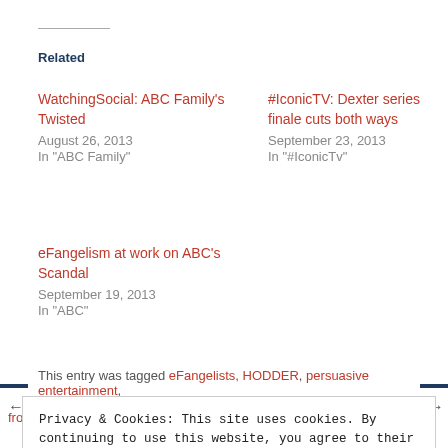Related
WatchingSocial: ABC Family's Twisted
August 26, 2013
In "ABC Family"
#IconicTV: Dexter series finale cuts both ways
September 23, 2013
In "#IconicTv"
eFangelism at work on ABC's Scandal
September 19, 2013
In "ABC"
This entry was tagged eFangelists, HODDER, persuasive entertainment,
Privacy & Cookies: This site uses cookies. By continuing to use this website, you agree to their use.
To find out more, including how to control cookies, see here: Cookie Policy
Close and accept